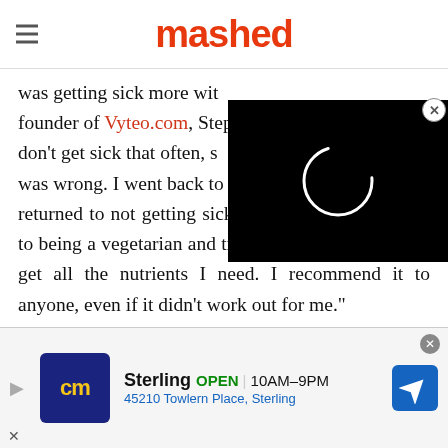mashed
was getting sick more with founder of Vyteo.com, Step don't get sick that often, s was wrong. I went back to eating meat and returned to not getting sick. I'd still love to go back to being a vegetarian and trying to make extra sure I get all the nutrients I need. I recommend it to anyone, even if it didn't work out for me."
[Figure (screenshot): Video player overlay with black background and white loading circle spinner]
[Figure (screenshot): Advertisement banner for Sterling location showing cm logo, OPEN 10AM-9PM, 45210 Towlern Place Sterling, with navigation arrow icon]